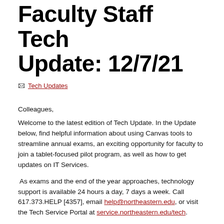Faculty Staff Tech Update: 12/7/21
Tech Updates
Colleagues,
Welcome to the latest edition of Tech Update. In the Update below, find helpful information about using Canvas tools to streamline annual exams, an exciting opportunity for faculty to join a tablet-focused pilot program, as well as how to get updates on IT Services.
As exams and the end of the year approaches, technology support is available 24 hours a day, 7 days a week. Call 617.373.HELP [4357], email help@northeastern.edu, or visit the Tech Service Portal at service.northeastern.edu/tech.
Cheers!